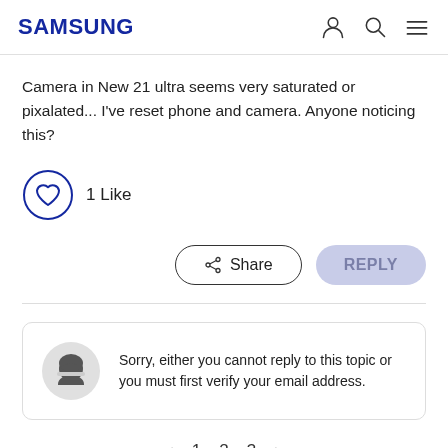SAMSUNG
Camera in New 21 ultra seems very saturated or pixalated... I've reset phone and camera. Anyone noticing this?
1 Like
Share  REPLY
Sorry, either you cannot reply to this topic or you must first verify your email address.
1  2  3